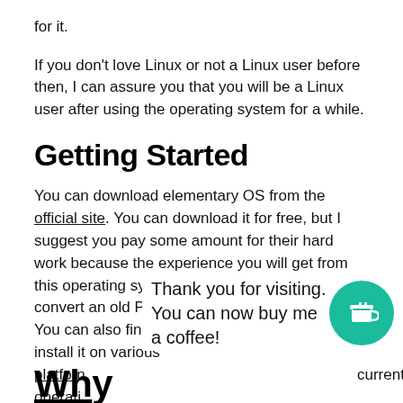for it.
If you don't love Linux or not a Linux user before then, I can assure you that you will be a Linux user after using the operating system for a while.
Getting Started
You can download elementary OS from the official site. You can download it for free, but I suggest you pay some amount for their hard work because the experience you will get from this operating system is beyond words. It can convert an old PC to an entirely new experience. You can also find a detailed article on how to install it on various platforms. current operati...
Thank you for visiting. You can now buy me a coffee!
Why